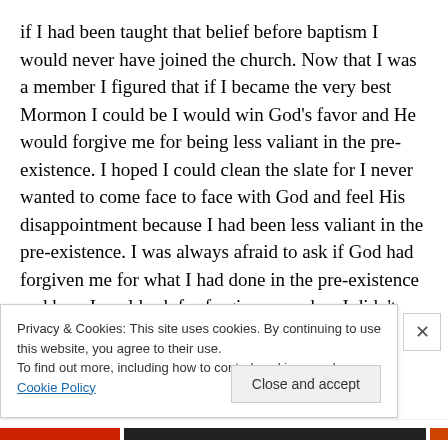if I had been taught that belief before baptism I would never have joined the church. Now that I was a member I figured that if I became the very best Mormon I could be I would win God’s favor and He would forgive me for being less valiant in the pre-existence. I hoped I could clean the slate for I never wanted to come face to face with God and feel His disappointment because I had been less valiant in the pre-existence. I was always afraid to ask if God had forgiven me for what I had done in the pre-existence and how I could ask for forgiveness when I didn’t know what it was I did. Or, was I suppose to be asking for forgiveness
Privacy & Cookies: This site uses cookies. By continuing to use this website, you agree to their use.
To find out more, including how to control cookies, see here: Cookie Policy